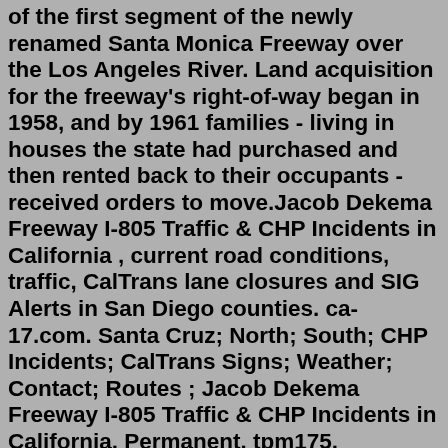of the first segment of the newly renamed Santa Monica Freeway over the Los Angeles River. Land acquisition for the freeway's right-of-way began in 1958, and by 1961 families - living in houses the state had purchased and then rented back to their occupants - received orders to move.Jacob Dekema Freeway I-805 Traffic & CHP Incidents in California , current road conditions, traffic, CalTrans lane closures and SIG Alerts in San Diego counties. ca-17.com. Santa Cruz; North; South; CHP Incidents; CalTrans Signs; Weather; Contact; Routes ; Jacob Dekema Freeway I-805 Traffic & CHP Incidents in California. Permanent. tpm175. Pavement Striping Details for Two Lane Two Way Roadways. Permanent. tpm200. Typical Entrance Ramp Markings For Interstates and Parkways. Permanent. tpm201. Typical Exit Ramp Markings For Interstates and Parkways. Colorado State Highway 105. State Highway 105 ( SH 105) is a state highway that runs partially from I-25 in Monument to SH 67 (Manhart Avenue) in Sedalia. The highway serves the